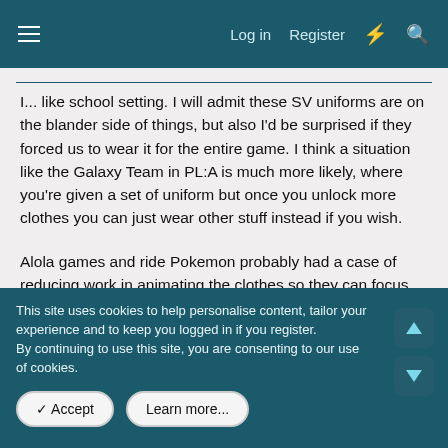Log in  Register
I... like school setting. I will admit these SV uniforms are on the blander side of things, but also I'd be surprised if they forced us to wear it for the entire game. I think a situation like the Galaxy Team in PL:A is much more likely, where you're given a set of uniform but once you unlock more clothes you can just wear other stuff instead if you wish.
Alola games and ride Pokemon probably had a case of reducing work in animating the clothes so they can focus on animating the 'mon instead, but even then the ride outfits were isolated in that mechanic and not what you wear for most of the games.
This site uses cookies to help personalise content, tailor your experience and to keep you logged in if you register.
By continuing to use this site, you are consenting to our use of cookies.
Accept  Learn more...